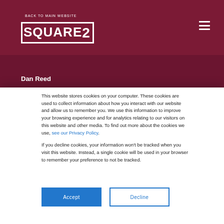BACK TO MAIN WEBSITE
[Figure (logo): Square 2 logo in white text on dark red background]
Dan Reed
This website stores cookies on your computer. These cookies are used to collect information about how you interact with our website and allow us to remember you. We use this information to improve your browsing experience and for analytics relating to our visitors on this website and other media. To find out more about the cookies we use, see our Privacy Policy.
If you decline cookies, your information won't be tracked when you visit this website. Instead, a single cookie will be used in your browser to remember your preference to not be tracked.
Accept | Decline